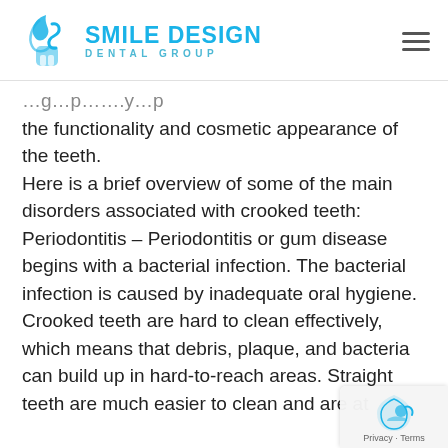SMILE DESIGN DENTAL GROUP
the functionality and cosmetic appearance of the teeth. Here is a brief overview of some of the main disorders associated with crooked teeth: Periodontitis – Periodontitis or gum disease begins with a bacterial infection. The bacterial infection is caused by inadequate oral hygiene. Crooked teeth are hard to clean effectively, which means that debris, plaque, and bacteria can build up in hard-to-reach areas. Straight teeth are much easier to clean and are at